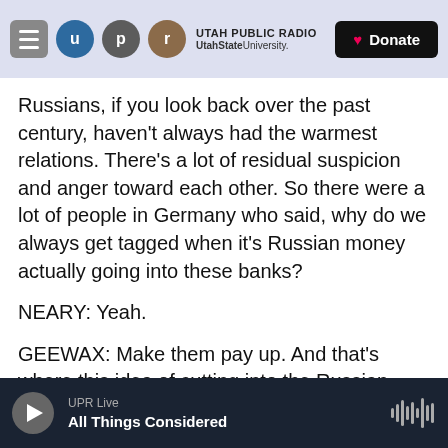UTAH PUBLIC RADIO — UtahStateUniversity. | Donate
Russians, if you look back over the past century, haven't always had the warmest relations. There's a lot of residual suspicion and anger toward each other. So there were a lot of people in Germany who said, why do we always get tagged when it's Russian money actually going into these banks?
NEARY: Yeah.
GEEWAX: Make them pay up. And that's where this idea of cutting into the Russian depositors came from. And so on the positive side of this plan, you can see why people would say that. Why not make
UPR Live — All Things Considered